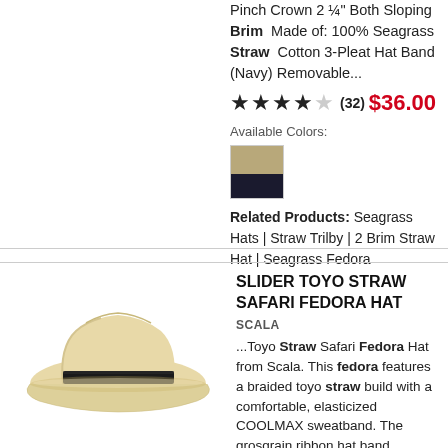Pinch Crown 2 ¼" Both Sloping Brim  Made of: 100% Seagrass Straw  Cotton 3-Pleat Hat Band (Navy) Removable...
★★★★☆ (32)  $36.00
Available Colors:
[Figure (other): Color swatch showing tan/beige woven texture on top and dark navy on bottom]
Related Products: Seagrass Hats | Straw Trilby | 2 Brim Straw Hat | Seagrass Fedora
SLIDER TOYO STRAW SAFARI FEDORA HAT
SCALA
[Figure (photo): A light tan/beige straw fedora hat with a dark black grosgrain ribbon band, photographed from the front-side angle on a white background]
...Toyo Straw Safari Fedora Hat from Scala. This fedora features a braided toyo straw build with a comfortable, elasticized COOLMAX sweatband. The grosgrain ribbon hat band wrapping around the crown is sporting a Scala metal side pin.  Approx. 4" Center Pinch